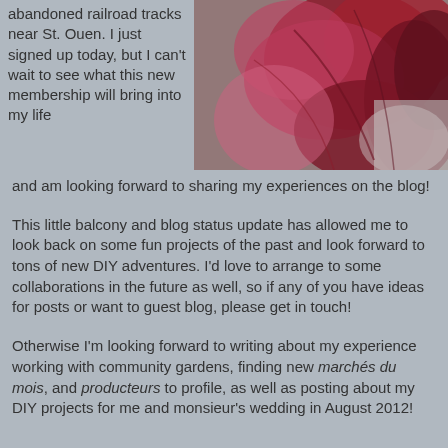abandoned railroad tracks near St. Ouen. I just signed up today, but I can't wait to see what this new membership will bring into my life and am looking forward to sharing my experiences on the blog!
[Figure (photo): Close-up photo of dark pink and red tropical flower or plant leaves]
This little balcony and blog status update has allowed me to look back on some fun projects of the past and look forward to tons of new DIY adventures. I'd love to arrange to some collaborations in the future as well, so if any of you have ideas for posts or want to guest blog, please get in touch!
Otherwise I'm looking forward to writing about my experience working with community gardens, finding new marchés du mois, and producteurs to profile, as well as posting about my DIY projects for me and monsieur's wedding in August 2012!